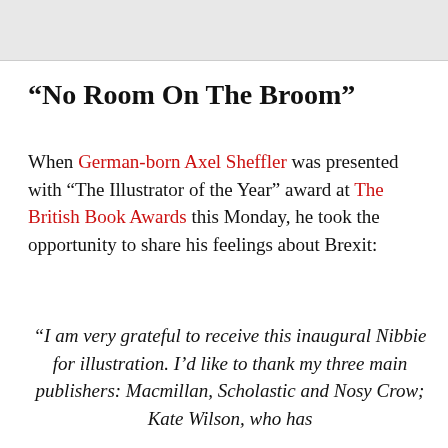“No Room On The Broom”
When German-born Axel Sheffler was presented with “The Illustrator of the Year” award at The British Book Awards this Monday, he took the opportunity to share his feelings about Brexit:
“I am very grateful to receive this inaugural Nibbie for illustration. I’d like to thank my three main publishers: Macmillan, Scholastic and Nosy Crow; Kate Wilson, who has